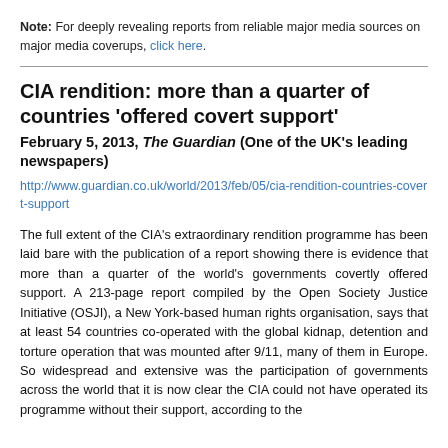Note: For deeply revealing reports from reliable major media sources on major media coverups, click here.
CIA rendition: more than a quarter of countries 'offered covert support'
February 5, 2013, The Guardian (One of the UK's leading newspapers)
http://www.guardian.co.uk/world/2013/feb/05/cia-rendition-countries-covert-support
The full extent of the CIA's extraordinary rendition programme has been laid bare with the publication of a report showing there is evidence that more than a quarter of the world's governments covertly offered support. A 213-page report compiled by the Open Society Justice Initiative (OSJI), a New York-based human rights organisation, says that at least 54 countries co-operated with the global kidnap, detention and torture operation that was mounted after 9/11, many of them in Europe. So widespread and extensive was the participation of governments across the world that it is now clear the CIA could not have operated its programme without their support, according to the